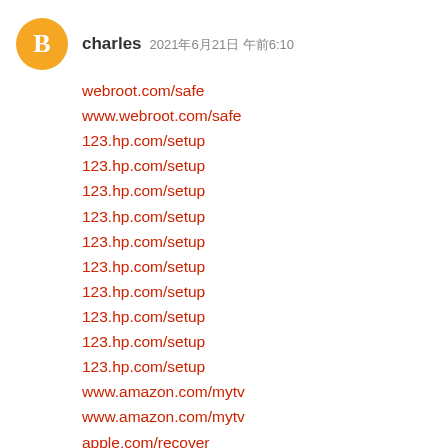charles  2021年6月21日 午前6:10
webroot.com/safe
www.webroot.com/safe
123.hp.com/setup
123.hp.com/setup
123.hp.com/setup
123.hp.com/setup
123.hp.com/setup
123.hp.com/setup
123.hp.com/setup
123.hp.com/setup
123.hp.com/setup
123.hp.com/setup
www.amazon.com/mytv
www.amazon.com/mytv
apple.com/recover
iforgot.apple.com
iforgot.apple.com
yahoo mail signin
yahoo mail login
yahoo mail login